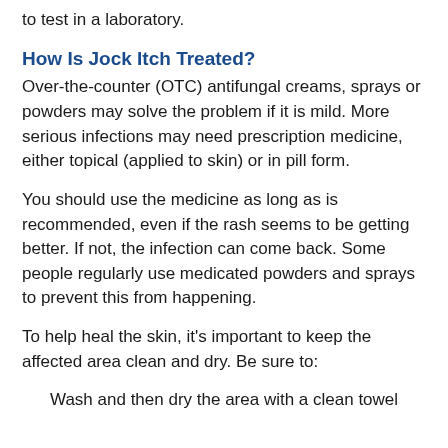to test in a laboratory.
How Is Jock Itch Treated?
Over-the-counter (OTC) antifungal creams, sprays or powders may solve the problem if it is mild. More serious infections may need prescription medicine, either topical (applied to skin) or in pill form.
You should use the medicine as long as is recommended, even if the rash seems to be getting better. If not, the infection can come back. Some people regularly use medicated powders and sprays to prevent this from happening.
To help heal the skin, it's important to keep the affected area clean and dry. Be sure to:
Wash and then dry the area with a clean towel